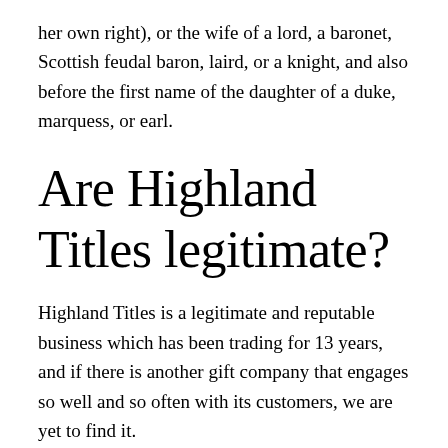her own right), or the wife of a lord, a baronet, Scottish feudal baron, laird, or a knight, and also before the first name of the daughter of a duke, marquess, or earl.
Are Highland Titles legitimate?
Highland Titles is a legitimate and reputable business which has been trading for 13 years, and if there is another gift company that engages so well and so often with its customers, we are yet to find it.